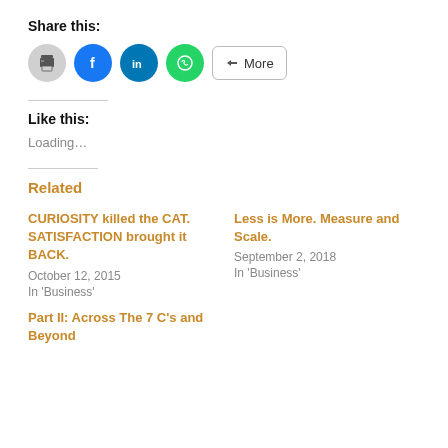Share this:
[Figure (infographic): Social sharing icons: print (gray circle), Facebook (blue circle), LinkedIn (teal circle), WhatsApp (green circle), and a More button]
Like this:
Loading...
Related
CURIOSITY killed the CAT. SATISFACTION brought it BACK.
October 12, 2015
In 'Business'
Less is More. Measure and Scale.
September 2, 2018
In 'Business'
Part II: Across The 7 C's and Beyond